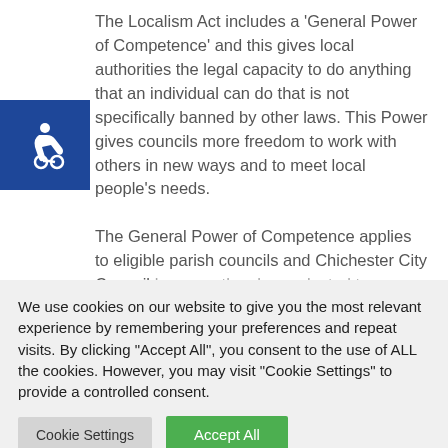The Localism Act includes a 'General Power of Competence' and this gives local authorities the legal capacity to do anything that an individual can do that is not specifically banned by other laws. This Power gives councils more freedom to work with others in new ways and to meet local people's needs.
[Figure (illustration): Wheelchair accessibility icon — white wheelchair symbol on dark blue background]
The General Power of Competence applies to eligible parish councils and Chichester City Council because they have elected to exercise this Power...
We use cookies on our website to give you the most relevant experience by remembering your preferences and repeat visits. By clicking "Accept All", you consent to the use of ALL the cookies. However, you may visit "Cookie Settings" to provide a controlled consent.